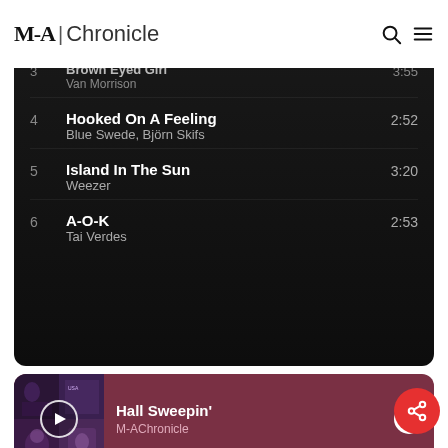M-A Chronicle
3  Brown Eyed Girl  Van Morrison  3:55
4  Hooked On A Feeling  Blue Swede, Björn Skifs  2:52
5  Island In The Sun  Weezer  3:20
6  A-O-K  Tai Verdes  2:53
[Figure (screenshot): Spotify embedded playlist widget titled 'Hall Sweepin'' by M-AChronicle with player controls and track listing]
1  You're The One That I Want - Fro...  John Travolta, Olivia Newton-John  2:49
2  Dancing Queen  3:50